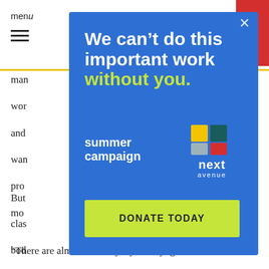menu
man
wor
and
wan
pro
mo
But
clas
bod
phy
a ha
or b
of M
“There are almost as many styles of yoga as
[Figure (infographic): Blue modal overlay with white bold text reading 'We can’t do this important work without you.' in white and yellow-green, 'summer campaign' text in white, Next Avenue logo with colorful squares, and a yellow-green 'DONATE TODAY' button.]
[Figure (logo): Red donate button in top right corner with white 'te' text visible]